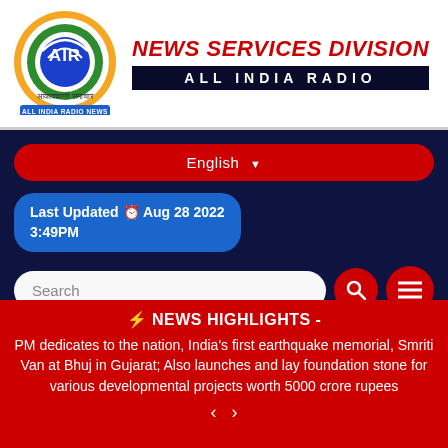[Figure (logo): All India Radio (AIR) circular logo with orange, white, green border and AIR text in blue, with Devanagari text below and 'ALL INDIA RADIO NEWS' blue badge]
NEWS SERVICES DIVISION
ALL INDIA RADIO
ALL INDIA RADIO NEWS
English
Last Updated ⏰ Aug 28 2022 3:49PM
Search
⚡ NEWS HIGHLIGHTS -
PM dedicates to the nation, India’s first earthquake memorial, Smriti Van at Bhuj in Gujarat; Also launches and lay foundation stone for various developmental projects worth 5000 crore rupees